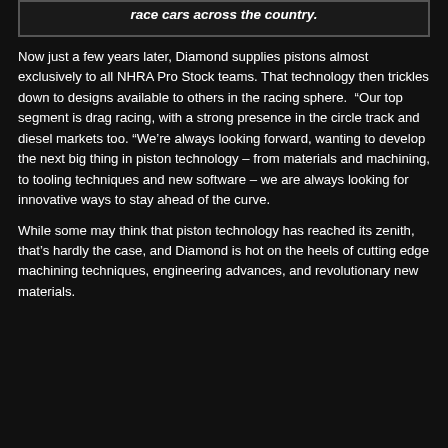race cars across the country.
Now just a few years later, Diamond supplies pistons almost exclusively to all NHRA Pro Stock teams. That technology then trickles down to designs available to others in the racing sphere. “Our top segment is drag racing, with a strong presence in the circle track and diesel markets too. “We’re always looking forward, wanting to develop the next big thing in piston technology – from materials and machining, to tooling techniques and new software – we are always looking for innovative ways to stay ahead of the curve.
While some may think that piston technology has reached its zenith, that’s hardly the case, and Diamond is hot on the heels of cutting edge machining techniques, engineering advances, and revolutionary new materials.